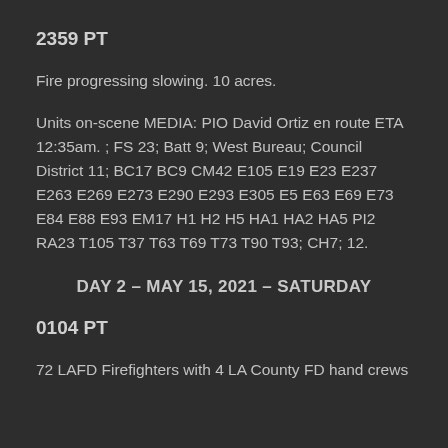2359 PT
Fire progressing slowing. 10 acres.
Units on-scene MEDIA: PIO David Ortiz en route ETA 12:35am. ; FS 23; Batt 9; West Bureau; Council District 11; BC17 BC9 CM42 E105 E19 E23 E237 E263 E269 E273 E290 E293 E305 E5 E63 E69 E73 E84 E88 E93 EM17 H1 H2 H5 HA1 HA2 HA5 PI2 RA23 T105 T37 T63 T69 T73 T90 T93; CH7; 12.
DAY 2 – MAY 15, 2021 – SATURDAY
0104 PT
72 LAFD Firefighters with 4 LA County FD hand crews